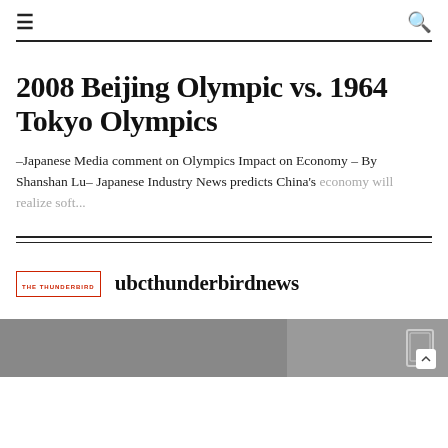☰  🔍
2008 Beijing Olympic vs. 1964 Tokyo Olympics
–Japanese Media comment on Olympics Impact on Economy – By Shanshan Lu– Japanese Industry News predicts China's economy will realize soft...
[Figure (logo): THE THUNDERBIRD logo text in red with site name 'ubcthunderbirdnews' in serif font]
[Figure (photo): Partial image at bottom of page showing a grey/muted scene with a tablet-like device visible on the right side]